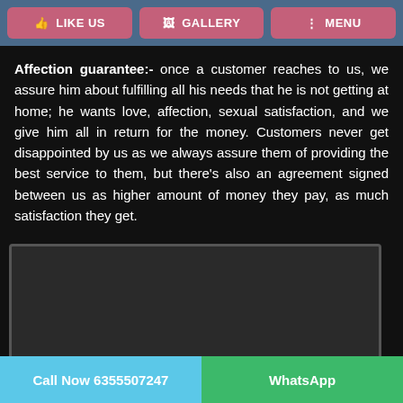LIKE US | GALLERY | MENU
Affection guarantee:- once a customer reaches to us, we assure him about fulfilling all his needs that he is not getting at home; he wants love, affection, sexual satisfaction, and we give him all in return for the money. Customers never get disappointed by us as we always assure them of providing the best service to them, but there's also an agreement signed between us as higher amount of money they pay, as much satisfaction they get.
[Figure (photo): Dark framed image box, content not visible]
Call Now 6355507247 | WhatsApp